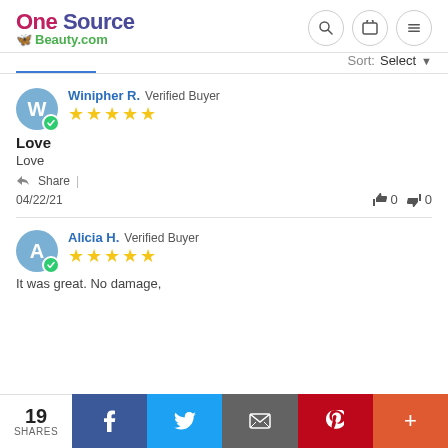OneSource Beauty.com
Sort: Select
Winipher R. Verified Buyer ★★★★★
Love
Love
Share |
04/22/21  👍 0  👎 0
Alicia H. Verified Buyer ★★★★★
It was great. No damage,
19 SHARES  Facebook  Twitter  Email  Pinterest  More